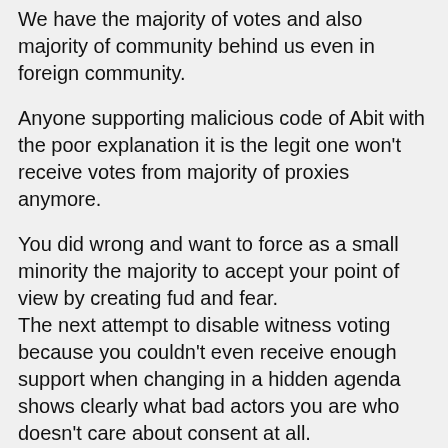We have the majority of votes and also majority of community behind us even in foreign community.
Anyone supporting malicious code of Abit with the poor explanation it is the legit one won't receive votes from majority of proxies anymore.
You did wrong and want to force as a small minority the majority to accept your point of view by creating fud and fear.
The next attempt to disable witness voting because you couldn't even receive enough support when changing in a hidden agenda shows clearly what bad actors you are who doesn't care about consent at all. Wasn't it you personly on telegram chat who asked cn-vote for supporting you as witness with the explanation you will always follow consensus based on voting ?
Seems your words are worth nothing.
We don't accept it and i will be very clear i see no bigger proxy supporting it other than